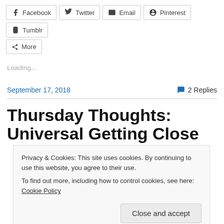Facebook Twitter Email Pinterest Tumblr More (share buttons)
Loading...
September 17, 2018   💬 2 Replies
Thursday Thoughts: Universal Getting Close
Privacy & Cookies: This site uses cookies. By continuing to use this website, you agree to their use.
To find out more, including how to control cookies, see here: Cookie Policy
Close and accept